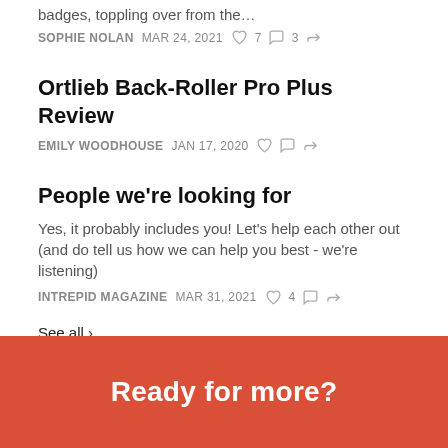badges, toppling over from the…
SOPHIE NOLAN   MAR 24, 2021   ♡ 7   ○ 3   ↗
Ortlieb Back-Roller Pro Plus Review
EMILY WOODHOUSE   JAN 17, 2020   ♡   ○   ↗
People we're looking for
Yes, it probably includes you! Let's help each other out (and do tell us how we can help you best - we're listening)
INTREPID MAGAZINE   MAR 31, 2021   ♡ 4   ○   ↗
See all ›
Ready for more?